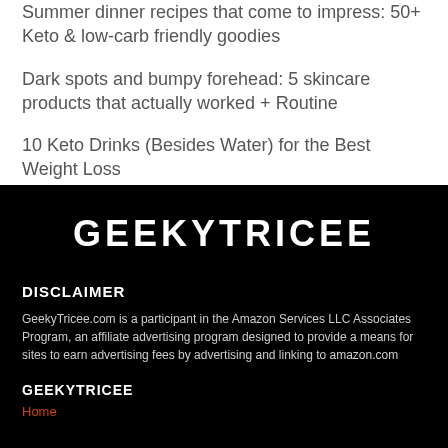Summer dinner recipes that come to impress: 50+ Keto & low-carb friendly goodies
Dark spots and bumpy forehead: 5 skincare products that actually worked + Routine
10 Keto Drinks (Besides Water) for the Best Weight Loss
GEEKYTRICEE
DISCLAIMER
GeekyTricee.com is a participant in the Amazon Services LLC Associates Program, an affiliate advertising program designed to provide a means for sites to earn advertising fees by advertising and linking to amazon.com
GEEKYTRICEE
Home